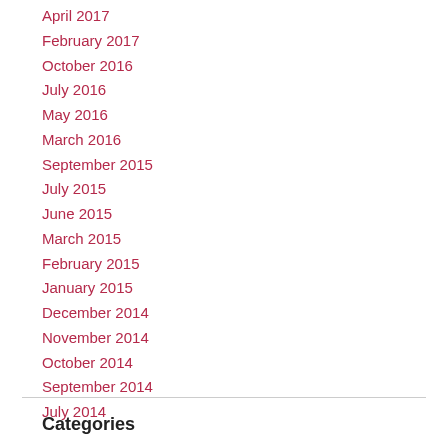April 2017
February 2017
October 2016
July 2016
May 2016
March 2016
September 2015
July 2015
June 2015
March 2015
February 2015
January 2015
December 2014
November 2014
October 2014
September 2014
July 2014
Categories